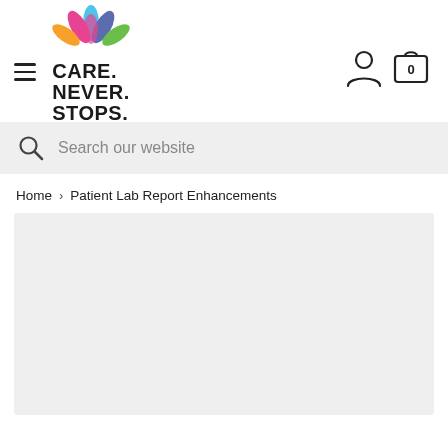[Figure (logo): Care. Never. Stops. logo with colorful lotus flower graphic above the text]
Search our website
Home > Patient Lab Report Enhancements
[Figure (other): Gray placeholder content area]